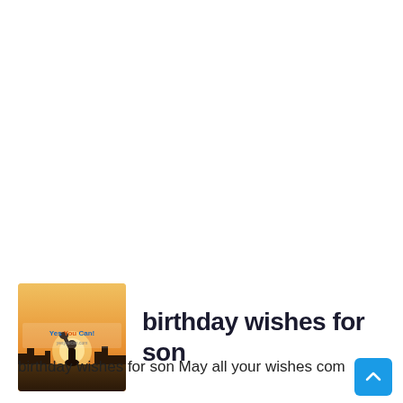[Figure (photo): Thumbnail image with a silhouette of a person raising a fist at sunset, with text 'Yes You Can!' and 'yesyoucan.com' overlay — logo/branding image for a website]
birthday wishes for son
birthday wishes for son May all your wishes com... b...d... b...d... You...